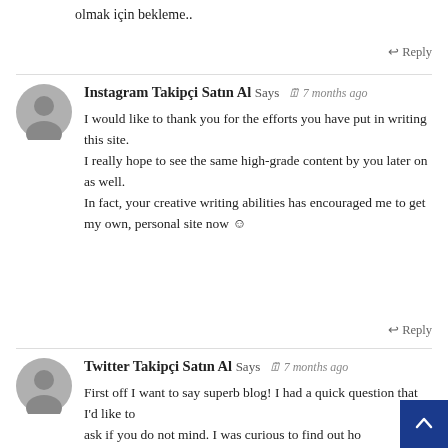olmak için bekleme..
↩ Reply
Instagram Takipçi Satın Al Says 7 months ago
I would like to thank you for the efforts you have put in writing this site.
I really hope to see the same high-grade content by you later on as well.
In fact, your creative writing abilities has encouraged me to get my own, personal site now ☺
↩ Reply
Twitter Takipçi Satın Al Says 7 months ago
First off I want to say superb blog! I had a quick question that I'd like to ask if you do not mind. I was curious to find out how you center yourself and clear your mind prior to